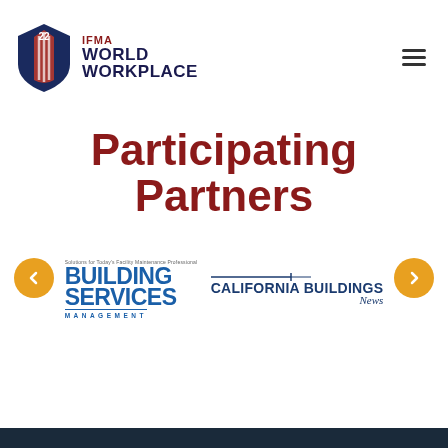IFMA WORLD WORKPLACE
Participating Partners
[Figure (logo): Building Services Management logo - Solutions for Today's Facility Maintenance Professional]
[Figure (logo): California Buildings News logo]